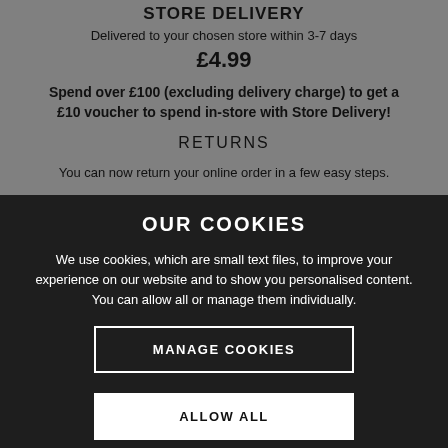STORE DELIVERY
Delivered to your chosen store within 3-7 days
£4.99
Spend over £100 (excluding delivery charge) to get a £10 voucher to spend in-store with Store Delivery!
RETURNS
You can now return your online order in a few easy steps.
OUR COOKIES
We use cookies, which are small text files, to improve your experience on our website and to show you personalised content. You can allow all or manage them individually.
MANAGE COOKIES
ALLOW ALL